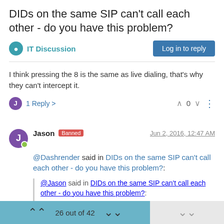DIDs on the same SIP can't call each other - do you have this problem?
IT Discussion
I think pressing the 8 is the same as live dialing, that's why they can't intercept it.
1 Reply >   ^ 0 v
Jason  Banned   Jun 2, 2016, 12:47 AM
@Dashrender said in DIDs on the same SIP can't call each other - do you have this problem?:
@Jason said in DIDs on the same SIP can't call each other - do you have this problem?:
26 out of 42